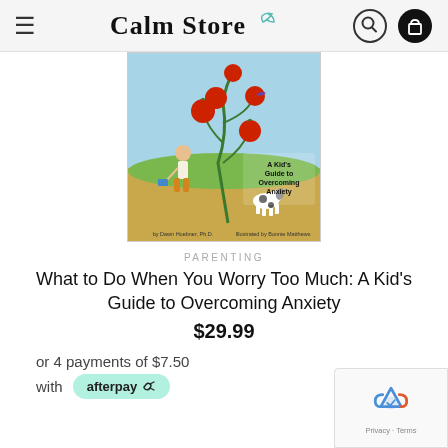Calm Store
[Figure (illustration): Book cover of 'A Kid's Guide to Overcoming Anxiety' showing a child with a large tomato plant, a dog, and a bird, by Dawn Huebner Ph.D., illustrated by Bonnie Matthews]
PARENTING
What to Do When You Worry Too Much: A Kid's Guide to Overcoming Anxiety
$29.99
or 4 payments of $7.50
with afterpay